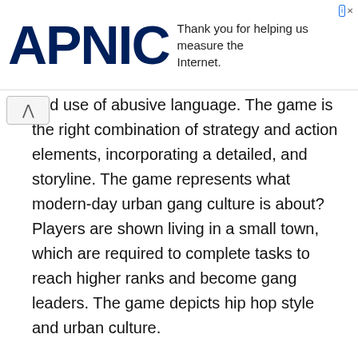APNIC — Thank you for helping us measure the Internet.
and use of abusive language. The game is the right combination of strategy and action elements, incorporating a detailed, and storyline. The game represents what modern-day urban gang culture is about? Players are shown living in a small town, which are required to complete tasks to reach higher ranks and become gang leaders. The game depicts hip hop style and urban culture.
When you begin the game, the player, named Tre, is shown to be a citizen of the underdeveloped district in Grand Central City. Being a hood resident, his dream is to be a part of the Outlawz, the local gang group. Now, to be a part, he has to prove his loyalty and efficiency. Therefore, players have to complete the said tasks on time. While he does them, he will be kept under check 24*7.